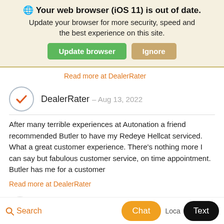🌐 Your web browser (iOS 11) is out of date. Update your browser for more security, speed and the best experience on this site.
Update browser | Ignore
Read more at DealerRater
DealerRater – Aug 13, 2022
After many terrible experiences at Autonation a friend recommended Butler to have my Redeye Hellcat serviced. What a great customer experience. There's nothing more I can say but fabulous customer service, on time appointment. Butler has me for a customer
Read more at DealerRater
DealerRater – Aug 12, 20...
Search | Chat | Text | Loca...